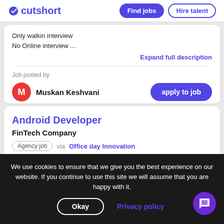cutshort | Find jobs | Hire talent
Only walkin interview
No Online interview ...
Expand full description
Job posted by
Muskan Keshvani
apply to job
Android Developer
FinTech Company
Agency job via Office day Innovation
We use cookies to ensure that we give you the best experience on our website. If you continue to use this site we will assume that you are happy with it.
Okay
Privacy policy